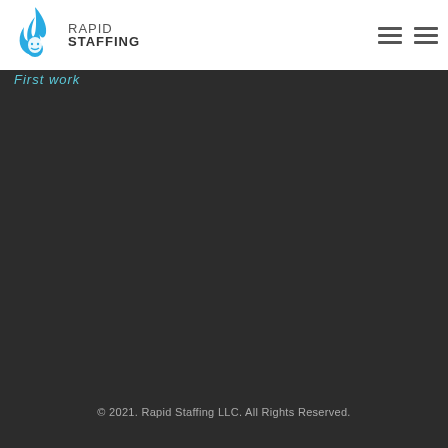RAPID STAFFING
First work
© 2021. Rapid Staffing LLC. All Rights Reserved.